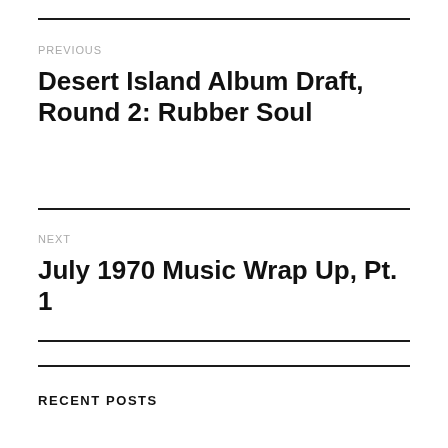PREVIOUS
Desert Island Album Draft, Round 2: Rubber Soul
NEXT
July 1970 Music Wrap Up, Pt. 1
RECENT POSTS